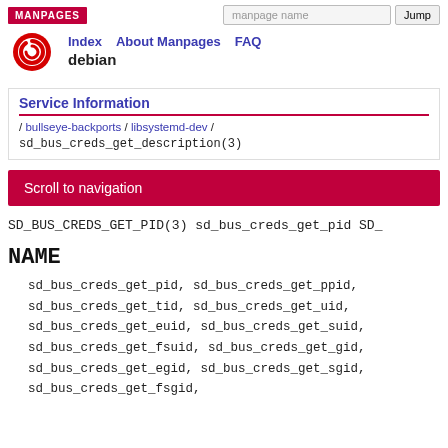MANPAGES | manpage name | Jump
Index  About Manpages  FAQ
Service Information
/ bullseye-backports / libsystemd-dev /
sd_bus_creds_get_description(3)
Scroll to navigation
SD_BUS_CREDS_GET_PID(3) sd_bus_creds_get_pid SD_
NAME
sd_bus_creds_get_pid, sd_bus_creds_get_ppid,
sd_bus_creds_get_tid, sd_bus_creds_get_uid,
sd_bus_creds_get_euid, sd_bus_creds_get_suid,
sd_bus_creds_get_fsuid, sd_bus_creds_get_gid,
sd_bus_creds_get_egid, sd_bus_creds_get_sgid,
sd_bus_creds_get_fsgid,